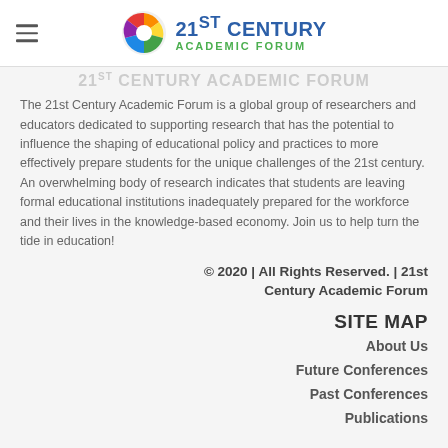21ST CENTURY ACADEMIC FORUM
21ST CENTURY ACADEMIC FORUM (partial, decorative header text)
The 21st Century Academic Forum is a global group of researchers and educators dedicated to supporting research that has the potential to influence the shaping of educational policy and practices to more effectively prepare students for the unique challenges of the 21st century. An overwhelming body of research indicates that students are leaving formal educational institutions inadequately prepared for the workforce and their lives in the knowledge-based economy. Join us to help turn the tide in education!
© 2020 | All Rights Reserved. | 21st Century Academic Forum
SITE MAP
About Us
Future Conferences
Past Conferences
Publications